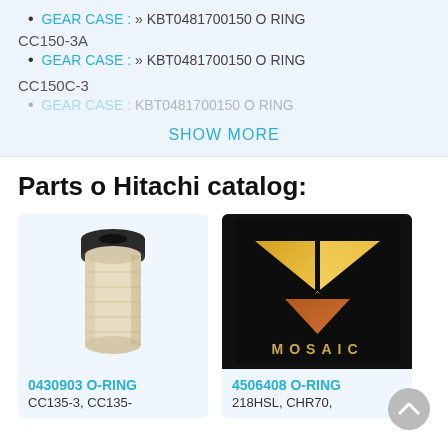GEAR CASE : » KBT0481700150 O RING
CC150-3A
GEAR CASE : » KBT0481700150 O RING
CC150C-3
GEAR CASE : » KBT0481700150 O RING (faded)
SHOW MORE
Parts o Hitachi catalog:
[Figure (photo): Cylindrical filter/O-ring part, white/cream colored with black top cap]
0430903 O-RING
CC135-3, CC135-
[Figure (logo): Mosaic logo — gold/copper geometric triangular design on black background with text MOSAIC]
4506408 O-RING
218HSL, CHR70,